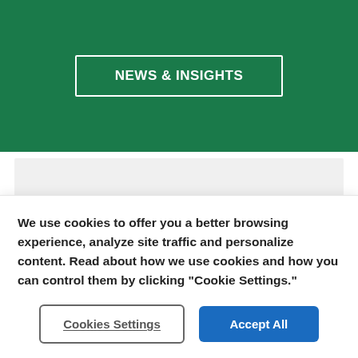NEWS & INSIGHTS
[Figure (other): Gray placeholder bar]
1FactSet and American Century Investments.
The opinions expressed are those of American Century Investments (or the portfolio managers) and
We use cookies to offer you a better browsing experience, analyze site traffic and personalize content. Read about how we use cookies and how you can control them by clicking "Cookie Settings."
Cookies Settings
Accept All